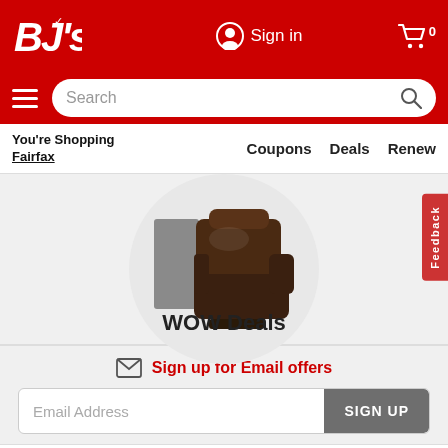[Figure (screenshot): BJ's Wholesale Club website header with red background, BJ's logo top left, Sign in button center, cart icon top right, hamburger menu and search bar below]
You're Shopping Fairfax
Coupons  Deals  Renew
[Figure (photo): Dark brown leather recliner chair on a circular light gray background]
WOW Deals
Sign up for Email offers
Email Address
SIGN UP
Membership